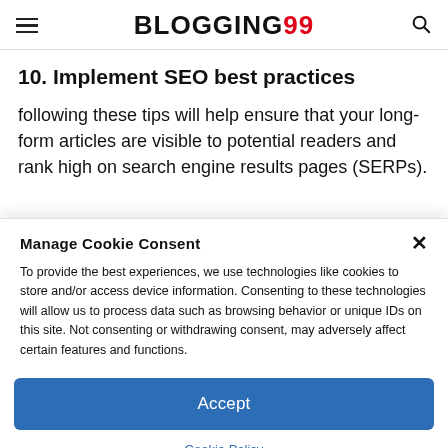BLOGGING99
10. Implement SEO best practices
following these tips will help ensure that your long-form articles are visible to potential readers and rank high on search engine results pages (SERPs).
Manage Cookie Consent
To provide the best experiences, we use technologies like cookies to store and/or access device information. Consenting to these technologies will allow us to process data such as browsing behavior or unique IDs on this site. Not consenting or withdrawing consent, may adversely affect certain features and functions.
Accept
Cookie Policy